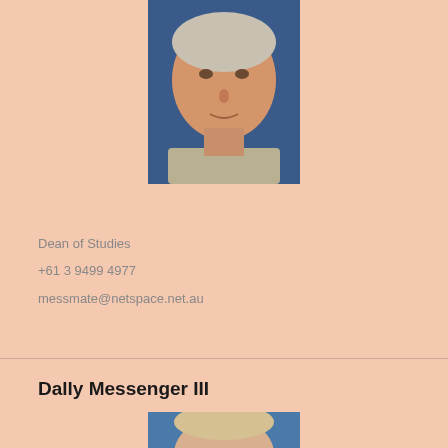[Figure (photo): Headshot of an older man with gray hair wearing a light-colored collared shirt against a blue background]
Dean of Studies
+61 3 9499 4977
messmate@netspace.net.au
Dally Messenger III
[Figure (photo): Partial headshot of a younger person with light hair against a blue background, cropped at bottom of page]